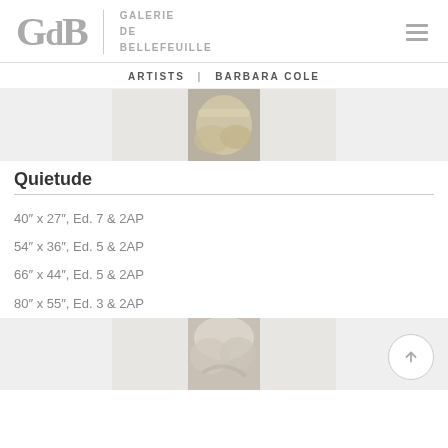[Figure (logo): Galerie de Bellefeuille logo with GdB letters and gallery name]
ARTISTS | BARBARA COLE
[Figure (photo): Partial view of artwork showing draped fabric or figure, top portion, on grey background]
Quietude
40″ x 27″, Ed. 7 & 2AP
54″ x 36″, Ed. 5 & 2AP
66″ x 44″, Ed. 5 & 2AP
80″ x 55″, Ed. 3 & 2AP
[Figure (photo): Partial view of second artwork showing soft draped fabric or figure, bottom portion, on grey background]